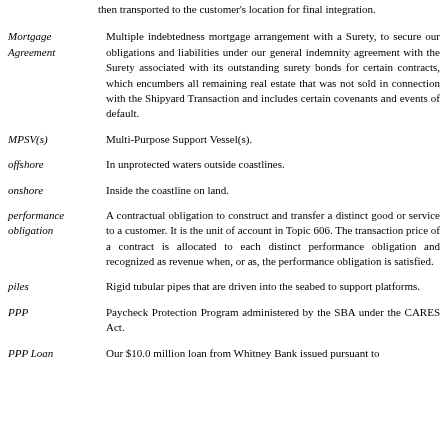then transported to the customer's location for final integration.
Mortgage Agreement: Multiple indebtedness mortgage arrangement with a Surety, to secure our obligations and liabilities under our general indemnity agreement with the Surety associated with its outstanding surety bonds for certain contracts, which encumbers all remaining real estate that was not sold in connection with the Shipyard Transaction and includes certain covenants and events of default.
MPSV(s): Multi-Purpose Support Vessel(s).
offshore: In unprotected waters outside coastlines.
onshore: Inside the coastline on land.
performance obligation: A contractual obligation to construct and transfer a distinct good or service to a customer. It is the unit of account in Topic 606. The transaction price of a contract is allocated to each distinct performance obligation and recognized as revenue when, or as, the performance obligation is satisfied.
piles: Rigid tubular pipes that are driven into the seabed to support platforms.
PPP: Paycheck Protection Program administered by the SBA under the CARES Act.
PPP Loan: Our $10.0 million loan from Whitney Bank issued pursuant to